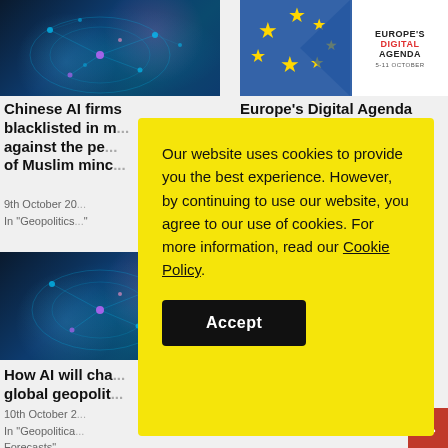[Figure (photo): Dark blue digital network map — glowing nodes connected by lines over a world map silhouette, with pink and cyan light effects]
[Figure (photo): Europe's Digital Agenda promotional image — EU flag with stars on blue, white box with text 'EUROPE'S DIGITAL AGENDA' and '5-11 OCTOBER']
Chinese AI firms blacklisted in m... against the pe... of Muslim minc...
Europe's Digital Agenda
9th October 20...
In "Geopolitics..."
[Figure (photo): Dark blue digital network/AI brain image similar to top left]
How AI will cha... global geopolit...
10th October 2...
In "Geopolitica...
Forecasts"
Our website uses cookies to provide you the best experience. However, by continuing to use our website, you agree to our use of cookies. For more information, read our Cookie Policy.
Accept